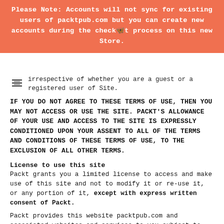Please Note: Accounts will not sync for existing users of packtpub.com but you can create new accounts during the checkout process on this new Store.
irrespective of whether you are a guest or a registered user of Site.
IF YOU DO NOT AGREE TO THESE TERMS OF USE, THEN YOU MAY NOT ACCESS OR USE THE SITE. PACKT'S ALLOWANCE OF YOUR USE AND ACCESS TO THE SITE IS EXPRESSLY CONDITIONED UPON YOUR ASSENT TO ALL OF THE TERMS AND CONDITIONS OF THESE TERMS OF USE, TO THE EXCLUSION OF ALL OTHER TERMS.
License to use this site
Packt grants you a limited license to access and make use of this site and not to modify it or re-use it, or any portion of it, except with express written consent of Packt.
Packt provides this website packtpub.com and associated websites and services to you subject to the following conditions. In visiting PacktPub.com or associated websites you accept these